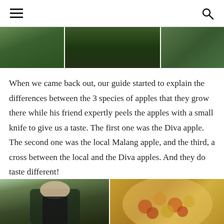≡  🔍
[Figure (photo): Three photos of an apple orchard/garden partially visible at the top of the page]
When we came back out, our guide started to explain the differences between the 3 species of apples that they grow there while his friend expertly peels the apples with a small knife to give us a taste. The first one was the Diva apple. The second one was the local Malang apple, and the third, a cross between the local and the Diva apples. And they do taste different!
[Figure (photo): Left: A man in a dark shirt looking down, peeling apples. Right: A bowl filled with small reddish-yellow apples placed on a brick surface.]